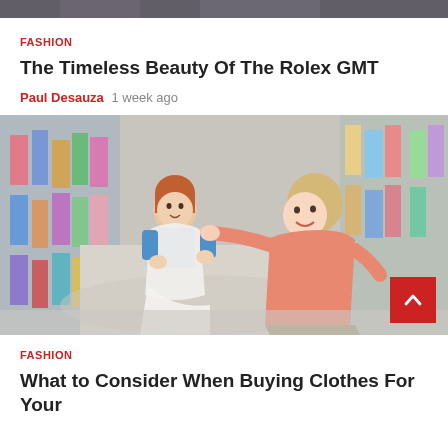[Figure (photo): Cropped top strip of an image, dark/grey tones, partial view]
FASHION
The Timeless Beauty Of The Rolex GMT
Paul Desauza  1 week ago
[Figure (photo): A woman kneeling in a children's clothing store, helping a young girl try on a white dress. Colorful clothes hang in the background. A red scroll-to-top button with a caret/chevron up icon is in the bottom-right corner of the image.]
FASHION
What to Consider When Buying Clothes For Your